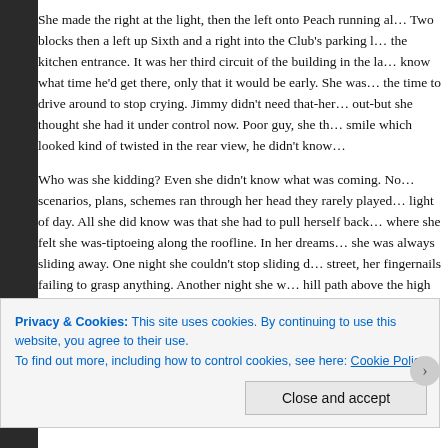She made the right at the light, then the left onto Peach running al... Two blocks then a left up Sixth and a right into the Club's parking l... the kitchen entrance. It was her third circuit of the building in the la... know what time he'd get there, only that it would be early. She was... the time to drive around to stop crying. Jimmy didn't need that-her... out-but she thought she had it under control now. Poor guy, she th... smile which looked kind of twisted in the rear view, he didn't know...
Who was she kidding? Even she didn't know what was coming. No... scenarios, plans, schemes ran through her head they rarely played... light of day. All she did know was that she had to pull herself back... where she felt she was-tiptoeing along the roofline. In her dreams... she was always sliding away. One night she couldn't stop sliding d... street, her fingernails failing to grasp anything. Another night she w... hill path above the high wall up at the dump where they'd played a... floor in the funhouse at old Rainbow Gardens. The common thread...
Privacy & Cookies: This site uses cookies. By continuing to use this website, you agree to their use. To find out more, including how to control cookies, see here: Cookie Policy
Close and accept